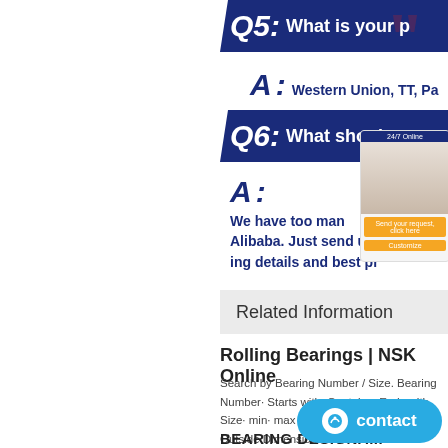Q5: What is your p
A: Western Union, TT, Pa
Q6: What shoul
A: We have too many products to list them all on Alibaba. Just send us the inquiry details and best pr
Related Information
Rolling Bearings | NSK Online
Search by Bearing Number / Size. Bearing Number· Starts with. Contains. Ends with. Size· min· max · Bore Dimensions· mm· Outside Dimensions·
BEARING DESIGNA... SYSTEMS -
NSK RUB Definition B Bearing with special